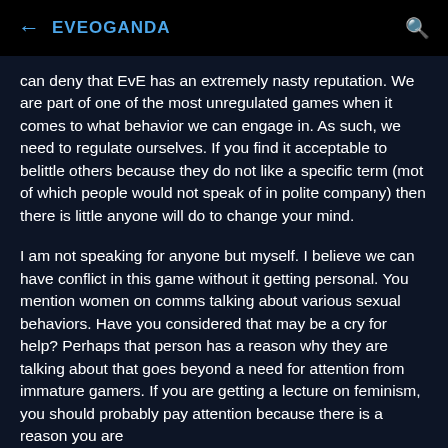← EVEOGANDA 🔍
can deny that EvE has an extremely nasty reputation. We are part of one of the most unregulated games when it comes to what behavior we can engage in. As such, we need to regulate ourselves. If you find it acceptable to belittle others because they do not like a specific term (mot of which people would not speak of in polite company) then there is little anyone will do to change your mind.
I am not speaking for anyone but myself. I believe we can have conflict in this game without it getting personal. You mention women on comms talking about various sexual behaviors. Have you considered that may be a cry for help? Perhaps that person has a reason why they are talking about that goes beyond a need for attention from immature gamers. If you are getting a lecture on feminism, you should probably pay attention because there is a reason you are